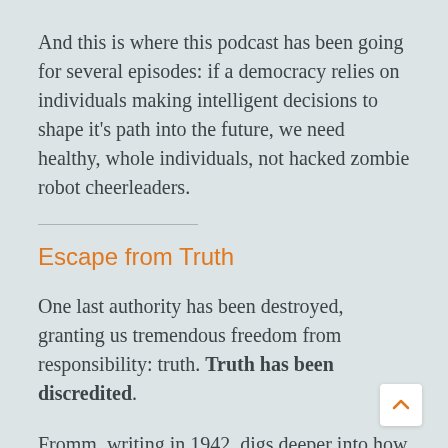And this is where this podcast has been going for several episodes: if a democracy relies on individuals making intelligent decisions to shape it's path into the future, we need healthy, whole individuals, not hacked zombie robot cheerleaders.
Escape from Truth
One last authority has been destroyed, granting us tremendous freedom from responsibility: truth. Truth has been discredited.
Fromm, writing in 1942, digs deeper into how “truth manipulated into a metaphysical concept, where it